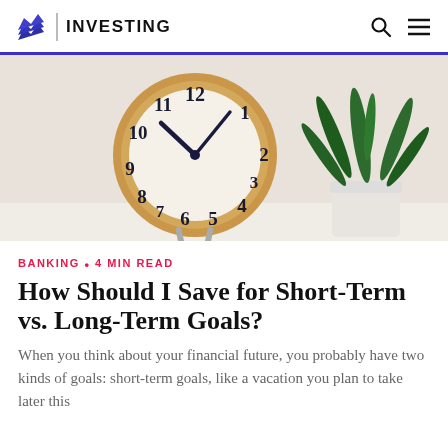INVESTING
[Figure (photo): A gold-rimmed analog clock showing approximately 10:10, with a small green succulent plant in a white pot to the right, on a white surface with a warm background.]
BANKING • 4 MIN READ
How Should I Save for Short-Term vs. Long-Term Goals?
When you think about your financial future, you probably have two kinds of goals: short-term goals, like a vacation you plan to take later this